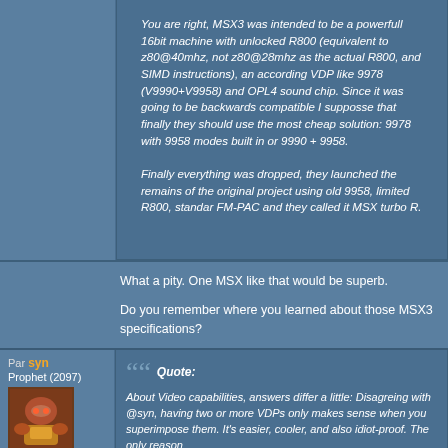You are right, MSX3 was intended to be a powerfull 16bit machine with unlocked R800 (equivalent to z80@40mhz, not z80@28mhz as the actual R800, and SIMD instructions), an according VDP like 9978 (V9990+V9958) and OPL4 sound chip. Since it was going to be backwards compatible I supposse that finally they should use the most cheap solution: 9978 with 9958 modes built in or 9990 + 9958.

Finally everything was dropped, they launched the remains of the original project using old 9958, limited R800, standar FM-PAC and they called it MSX turbo R.
What a pity. One MSX like that would be superb.
Do you remember where you learned about those MSX3 specifications?
Par syn
Prophet (2097)
28-07-2015, 23:00
Quote:
About Video capabilities, answers differ a little: Disagreing with @syn, having two or more VDPs only makes sense when you superimpose them. It's easier, cooler, and also idiot-proof. The only reason